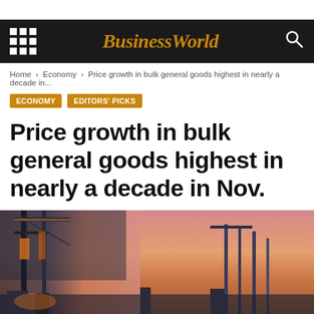BusinessWorld
Home › Economy › Price growth in bulk general goods highest in nearly a decade in...
ECONOMY
EDITORS' PICKS
Price growth in bulk general goods highest in nearly a decade in Nov.
January 27, 2022 | 10:46 pm
[Figure (photo): Port shipping cranes at dusk with orange and pink sky background, industrial cargo terminal]